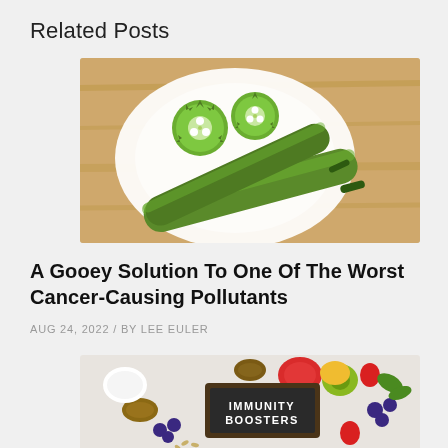Related Posts
[Figure (photo): Okra vegetables sliced in half on a white plate with wooden background]
A Gooey Solution To One Of The Worst Cancer-Causing Pollutants
AUG 24, 2022 / BY LEE EULER
[Figure (photo): Immunity Boosters text on a chalkboard sign surrounded by various fruits, vegetables, mushrooms, nuts, and dairy items on a white background]